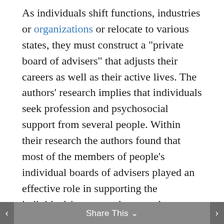As individuals shift functions, industries or organizations or relocate to various states, they must construct a "private board of advisers" that adjusts their careers as well as their active lives. The authors' research implies that individuals seek profession and psychosocial support from several people. Within their research the authors found that most of the members of people's individual boards of advisers played an effective role in supporting the individuals' career and personal development. However, some individuals also mentioned the significance of folks who had passed away but were still a source of motivation and inspiration to them. The authors identified six kinds of private board members: full service mentors, private advisors, private guides, career counselors, career guides and role models.
Share This